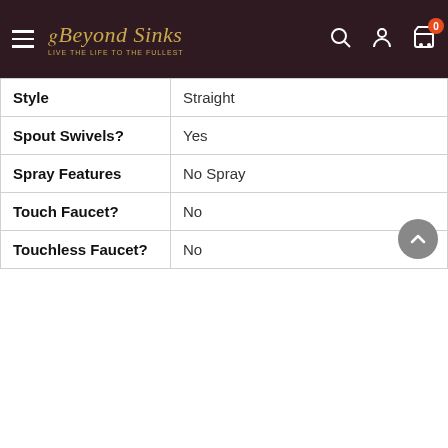Beyond Sinks - navbar with search, account, cart (0)
| Property | Value |
| --- | --- |
| Style | Straight |
| Spout Swivels? | Yes |
| Spray Features | No Spray |
| Touch Faucet? | No |
| Touchless Faucet? | No |